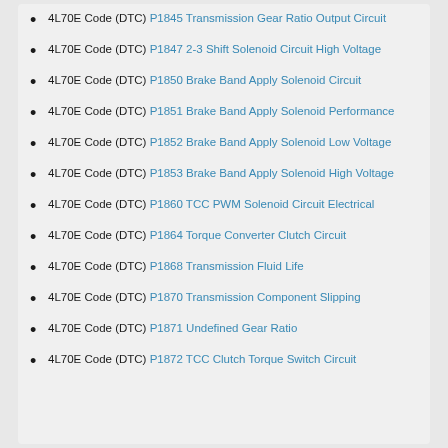4L70E Code (DTC) P1845 Transmission Gear Ratio Output Circuit
4L70E Code (DTC) P1847 2-3 Shift Solenoid Circuit High Voltage
4L70E Code (DTC) P1850 Brake Band Apply Solenoid Circuit
4L70E Code (DTC) P1851 Brake Band Apply Solenoid Performance
4L70E Code (DTC) P1852 Brake Band Apply Solenoid Low Voltage
4L70E Code (DTC) P1853 Brake Band Apply Solenoid High Voltage
4L70E Code (DTC) P1860 TCC PWM Solenoid Circuit Electrical
4L70E Code (DTC) P1864 Torque Converter Clutch Circuit
4L70E Code (DTC) P1868 Transmission Fluid Life
4L70E Code (DTC) P1870 Transmission Component Slipping
4L70E Code (DTC) P1871 Undefined Gear Ratio
4L70E Code (DTC) P1872 TCC Clutch Torque Switch Circuit